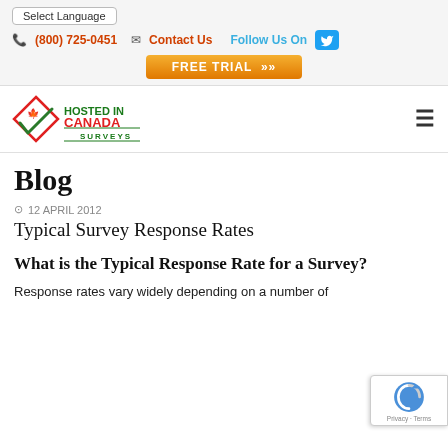Select Language | (800) 725-0451 | Contact Us | Follow Us On | FREE TRIAL
[Figure (logo): Hosted in Canada Surveys logo with red diamond shape containing a maple leaf and green checkmark, with text HOSTED IN CANADA SURVEYS in green and red]
Blog
12 APRIL 2012
Typical Survey Response Rates
What is the Typical Response Rate for a Survey?
Response rates vary widely depending on a number of